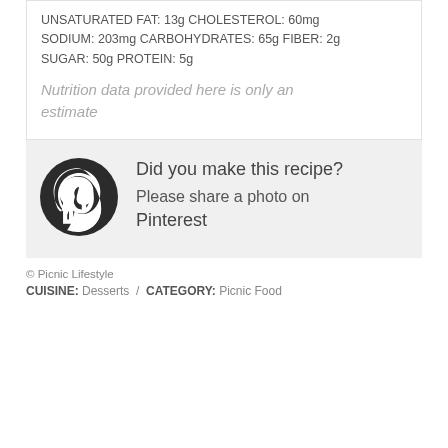UNSATURATED FAT: 13g CHOLESTEROL: 60mg SODIUM: 203mg CARBOHYDRATES: 65g FIBER: 2g SUGAR: 50g PROTEIN: 5g
Nutrition data provided here is only an estimate
[Figure (logo): Pinterest logo — circular dark background with white P icon]
Did you make this recipe? Please share a photo on Pinterest
© Picnic Lifestyle
CUISINE: Desserts / CATEGORY: Picnic Food